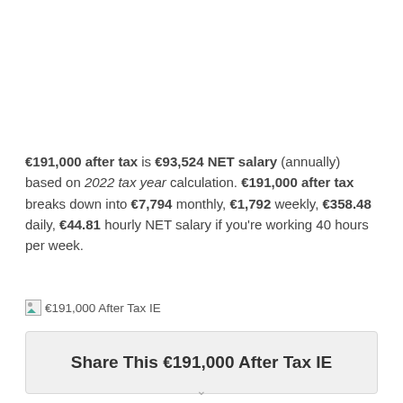€191,000 after tax is €93,524 NET salary (annually) based on 2022 tax year calculation. €191,000 after tax breaks down into €7,794 monthly, €1,792 weekly, €358.48 daily, €44.81 hourly NET salary if you're working 40 hours per week.
[Figure (other): Broken image icon placeholder with caption: €191,000 After Tax IE]
€191,000 After Tax IE
Share This €191,000 After Tax IE